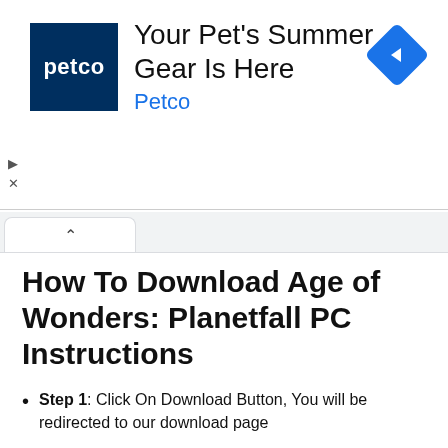[Figure (other): Petco advertisement banner showing Petco logo, headline 'Your Pet's Summer Gear Is Here', brand name 'Petco', and a blue navigation diamond icon]
How To Download Age of Wonders: Planetfall PC Instructions
Step 1: Click On Download Button, You will be redirected to our download page
Step 2: Click On Download Age of Wonders: Planetfall PC Button
Step 3: Your Download Will Start Free Installer Officially Created From GamingBeasts.com
Step 4: Download & Install The File & Then You Will Be